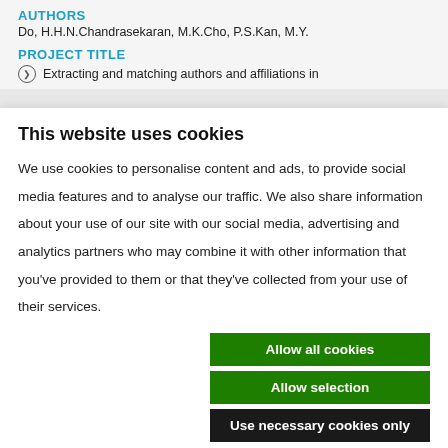AUTHORS
Do, H.H.N.Chandrasekaran, M.K.Cho, P.S.Kan, M.Y.
PROJECT TITLE
Extracting and matching authors and affiliations in
This website uses cookies
We use cookies to personalise content and ads, to provide social media features and to analyse our traffic. We also share information about your use of our site with our social media, advertising and analytics partners who may combine it with other information that you've provided to them or that they've collected from your use of their services.
Allow all cookies
Allow selection
Use necessary cookies only
Necessary   Preferences   Statistics   Marketing   Show details